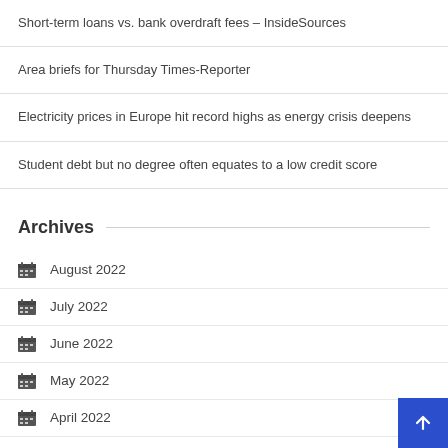Short-term loans vs. bank overdraft fees – InsideSources
Area briefs for Thursday Times-Reporter
Electricity prices in Europe hit record highs as energy crisis deepens
Student debt but no degree often equates to a low credit score
Archives
August 2022
July 2022
June 2022
May 2022
April 2022